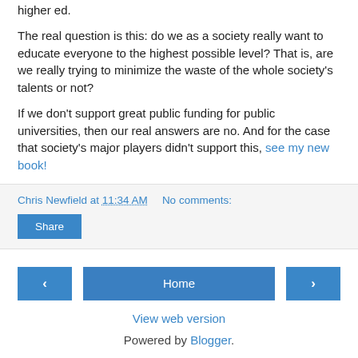higher ed.
The real question is this: do we as a society really want to educate everyone to the highest possible level? That is, are we really trying to minimize the waste of the whole society's talents or not?
If we don't support great public funding for public universities, then our real answers are no. And for the case that society's major players didn't support this, see my new book!
Chris Newfield at 11:34 AM   No comments:
Share
‹
Home
›
View web version
Powered by Blogger.